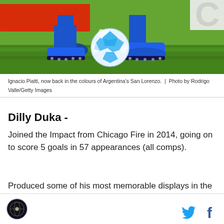[Figure (photo): Close-up photo of a soccer player in blue socks and blue cleats about to kick a blue and white soccer ball on a green grass field, with a red advertisement board in the background.]
Ignacio Piatti, now back in the colours of Argentina's San Lorenzo.  |  Photo by Rodrigo Valle/Getty Images
Dilly Duka -
Joined the Impact from Chicago Fire in 2014, going on to score 5 goals in 57 appearances (all comps).
Produced some of his most memorable displays in the